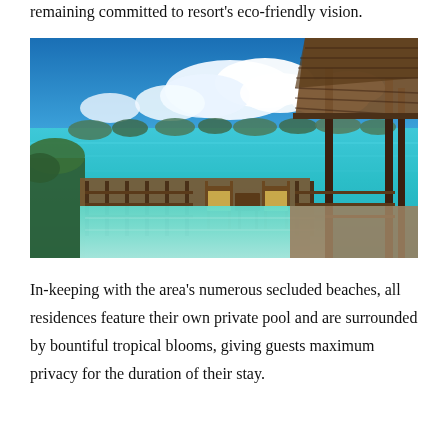remaining committed to resort's eco-friendly vision.
[Figure (photo): Tropical resort villa with infinity pool overlooking turquoise sea with limestone islands in the distance, under a blue sky with white clouds. A thatched-roof pavilion with wooden chairs is visible on the right.]
In-keeping with the area's numerous secluded beaches, all residences feature their own private pool and are surrounded by bountiful tropical blooms, giving guests maximum privacy for the duration of their stay.